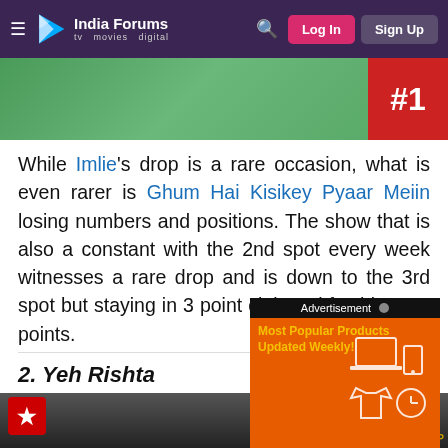India Forums — tv movies digital | Log In | Sign Up
[Figure (photo): Top image strip showing a person in green patterned clothing with a red banner on the right]
While Imlie's drop is a rare occasion, what is even rarer is Ghum Hai Kisikey Pyaar Meiin losing numbers and positions. The show that is also a constant with the 2nd spot every week witnesses a rare drop and is down to the 3rd spot but staying in 3 point club and fetching 3.0 points.
2. Yeh Rishta...
[Figure (photo): Bottom image showing a person with dark hair against a dark background, with a Star network logo top-left and TOP label bottom-right]
[Figure (other): Advertisement overlay: Most Popular Products Updated Weekly! on orange background]